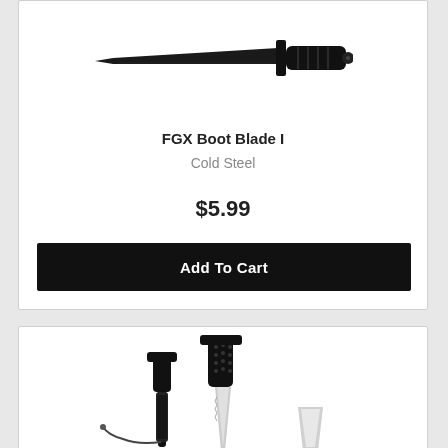[Figure (photo): Black boot blade knife (FGX Boot Blade I) shown horizontally against white background]
FGX Boot Blade I
Cold Steel
$5.99
Add To Cart
[Figure (photo): Second product - multiple knives/blades with black handles and sheaths shown together]